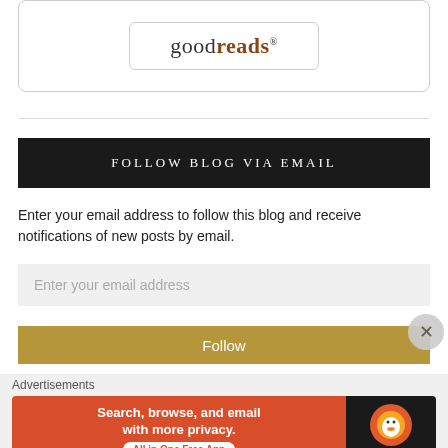[Figure (logo): Goodreads logo inside rounded rectangle box]
FOLLOW BLOG VIA EMAIL
Enter your email address to follow this blog and receive notifications of new posts by email.
Enter your email address
Follow
Advertisements
[Figure (screenshot): DuckDuckGo advertisement banner: Search, browse, and email with more privacy. All in One Free App.]